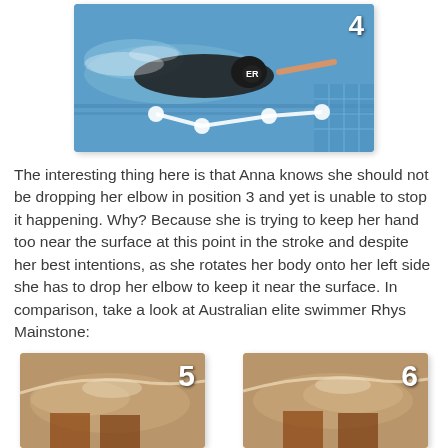[Figure (photo): Swimmer performing freestyle stroke underwater, with an overlaid skeletal/joint diagram showing arm and shoulder positions. Number 4 badge in top right corner.]
The interesting thing here is that Anna knows she should not be dropping her elbow in position 3 and yet is unable to stop it happening. Why? Because she is trying to keep her hand too near the surface at this point in the stroke and despite her best intentions, as she rotates her body onto her left side she has to drop her elbow to keep it near the surface. In comparison, take a look at Australian elite swimmer Rhys Mainstone:
[Figure (photo): Swimmer performing freestyle stroke, number 5 badge in top right corner.]
[Figure (photo): Swimmer performing freestyle stroke, number 6 badge in top right corner.]